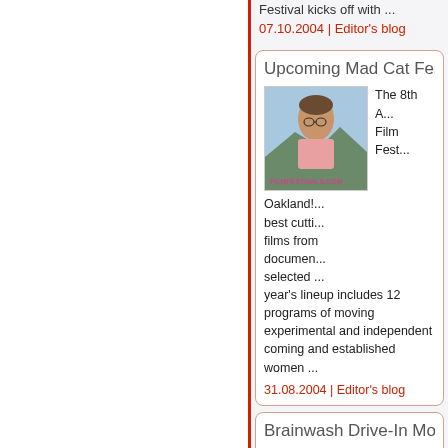Festival kicks off with ...
07.10.2004 | Editor's blog
Upcoming Mad Cat Fest i...
[Figure (photo): A person with glasses and pink shirt outdoors, with FILMFESTIVALS.COM watermark]
The 8th A... Film Fest... Oakland!... best cutti... films fro... documen... selected ... year's lineup includes 12 programs of moving experimental and independent coming and established women ...
31.08.2004 | Editor's blog
Brainwash Drive-In Movie...
[Figure (photo): A person with glasses and pink shirt outdoors, with FILMFESTIVALS.COM watermark]
The 10th Festival!A... Annual B... Festival!F... in the Alli... Parking L... Oakland,...
broadcast into your car or Boom Box c...